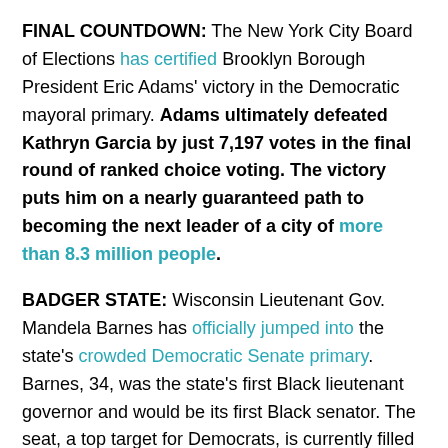FINAL COUNTDOWN: The New York City Board of Elections has certified Brooklyn Borough President Eric Adams' victory in the Democratic mayoral primary. Adams ultimately defeated Kathryn Garcia by just 7,197 votes in the final round of ranked choice voting. The victory puts him on a nearly guaranteed path to becoming the next leader of a city of more than 8.3 million people.
BADGER STATE: Wisconsin Lieutenant Gov. Mandela Barnes has officially jumped into the state's crowded Democratic Senate primary. Barnes, 34, was the state's first Black lieutenant governor and would be its first Black senator. The seat, a top target for Democrats, is currently filled by Republican Ron Johnson, who was re-elected by about 99,000 votes in 2016.